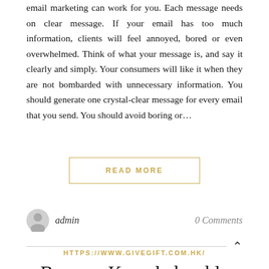email marketing can work for you. Each message needs on clear message. If your email has too much information, clients will feel annoyed, bored or even overwhelmed. Think of what your message is, and say it clearly and simply. Your consumers will like it when they are not bombarded with unnecessary information. You should generate one crystal-clear message for every email that you send. You should avoid boring or...
READ MORE
admin
0 Comments
HTTPS://WWW.GIVEGIFT.COM.HK/
Become Knowledgeable